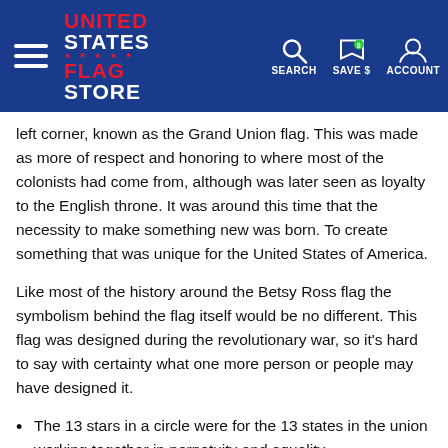United States Flag Store — SEARCH SAVE $ ACCOUNT
left corner, known as the Grand Union flag. This was made as more of respect and honoring to where most of the colonists had come from, although was later seen as loyalty to the English throne. It was around this time that the necessity to make something new was born. To create something that was unique for the United States of America.
Like most of the history around the Betsy Ross flag the symbolism behind the flag itself would be no different. This flag was designed during the revolutionary war, so it's hard to say with certainty what one more person or people may have designed it.
The 13 stars in a circle were for the 13 states in the union working together in perpetuity and equality.
The red and white alternating thirteen stripes were to represent the 13 colonies. Revolutionary stripes were popular amongst the rebellious forces.
The red was to stand for hardiness and valor, while the white